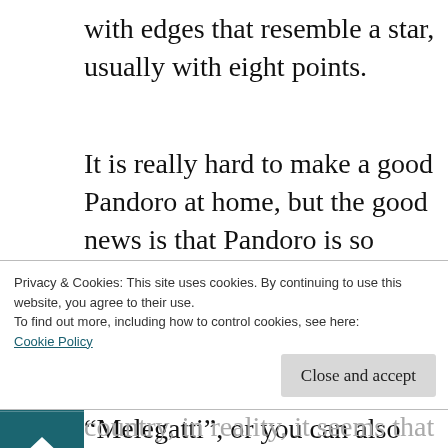with edges that resemble a star, usually with eight points.
It is really hard to make a good Pandoro at home, but the good news is that Pandoro is so popular you will be able to find it everywhere! Traditional brands are making them industrially, such as “Bauli” or “Melegatti”, or you can also find artisanal pandoro in many bakeries. No matter what you choose to buy,
Privacy & Cookies: This site uses cookies. By continuing to use this website, you agree to their use.
To find out more, including how to control cookies, see here:
Cookie Policy
Close and accept
country, in reality, it seems that Pandoro was